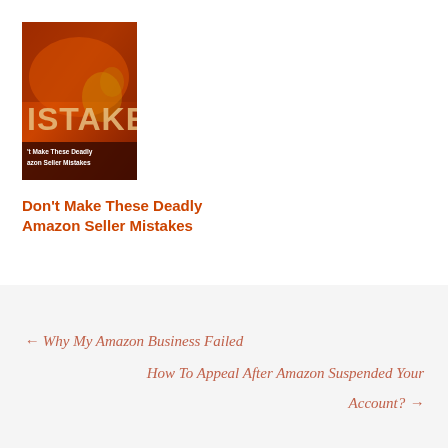[Figure (illustration): Book cover image showing dark orange/brown background with text 'ISTAKE' visible and subtitle 'Don't Make These Deadly Amazon Seller Mistakes']
Don't Make These Deadly Amazon Seller Mistakes
← Why My Amazon Business Failed
How To Appeal After Amazon Suspended Your Account? →